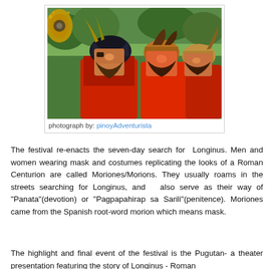[Figure (photo): Three men wearing elaborate Roman Centurion-style masks and helmets with red cloaks, standing in a row during the Moriones Festival in the Philippines. The masks depict warrior faces with facial hair, and the helmets have ornate decorations.]
photograph by: pinoyAdventurista
The festival re-enacts the seven-day search for Longinus. Men and women wearing mask and costumes replicating the looks of a Roman Centurion are called Moriones/Morions. They usually roams in the streets searching for Longinus, and also serve as their way of "Panata"(devotion) or "Pagpapahirap sa Sarili"(penitence). Moriones came from the Spanish root-word morion which means mask.
The highlight and final event of the festival is the Pugutan- a theater presentation featuring the story of Longinus - Roman